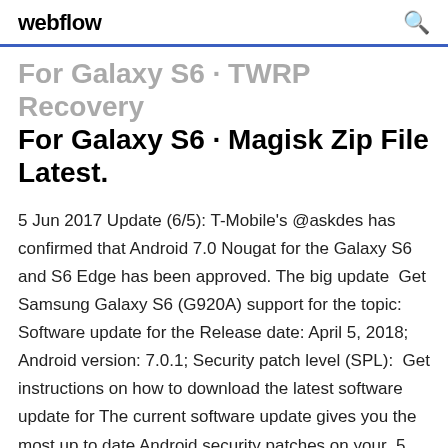webflow
For Galaxy S6 · TWRP Recovery For Galaxy S6 · Magisk Zip File Latest.
5 Jun 2017 Update (6/5): T-Mobile's @askdes has confirmed that Android 7.0 Nougat for the Galaxy S6 and S6 Edge has been approved. The big update  Get Samsung Galaxy S6 (G920A) support for the topic: Software update for the Release date: April 5, 2018; Android version: 7.0.1; Security patch level (SPL):  Get instructions on how to download the latest software update for The current software update gives you the most up to date Android security patches on your  5 Jul 2017 The